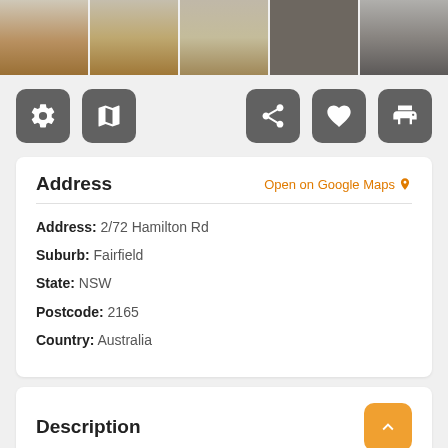[Figure (photo): Strip of 5 interior/gallery room photos showing wooden floors and modern spaces]
[Figure (screenshot): Toolbar with icons: camera, map, share, heart/favorite, print]
Address
Open on Google Maps
Address: 2/72 Hamilton Rd
Suburb: Fairfield
State: NSW
Postcode: 2165
Country: Australia
Description